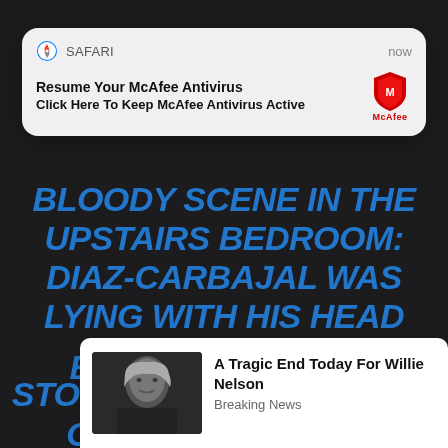[Figure (screenshot): Safari browser push notification popup: 'Resume Your McAfee Antivirus / Click Here To Keep McAfee Antivirus Active' with McAfee logo]
BLOODY SCENE IN THE UPSTAIRS BEDROOM: DIAZ-CARBAJAL WAS LYING WITH HIS HEAD RESTING ON THE STOMACH AND CHEST OF GARCIA, WHO WAS SITTING ON THE FLOOR WITH HER BACK AGAINST THE WALL AND DID NOT APPEAR TO BE BREATHING. DIAZ-CARBAJAL'S
[Figure (screenshot): Ad card showing Willie Nelson photo with text 'A Tragic End Today For Willie Nelson / Breaking News']